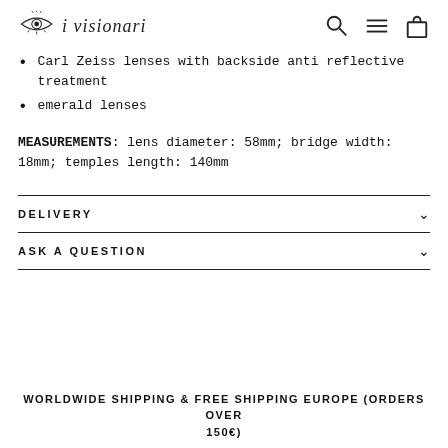i visionari
Carl Zeiss lenses with backside anti reflective treatment
emerald lenses
MEASUREMENTS: lens diameter: 58mm; bridge width: 18mm; temples length: 140mm
DELIVERY
ASK A QUESTION
WORLDWIDE SHIPPING & FREE SHIPPING EUROPE (ORDERS OVER 150€)